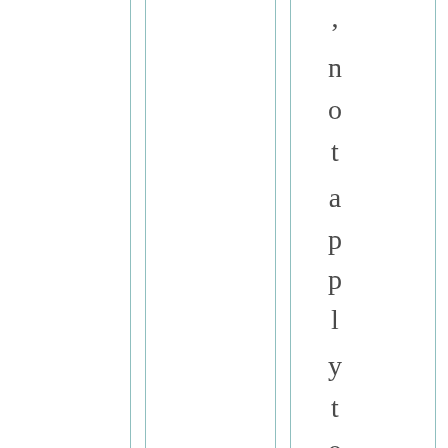|  |  |  |  |  |  |
, not apply to you?